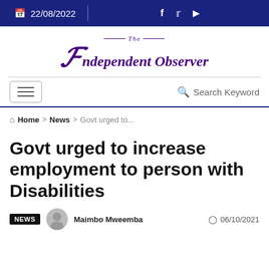22/08/2022
[Figure (logo): The Independent Observer newspaper logo in purple serif font]
Search Keyword
Home > News > Govt urged to...
Govt urged to increase employment to person with Disabilities
NEWS  Maimbo Mweemba  06/10/2021